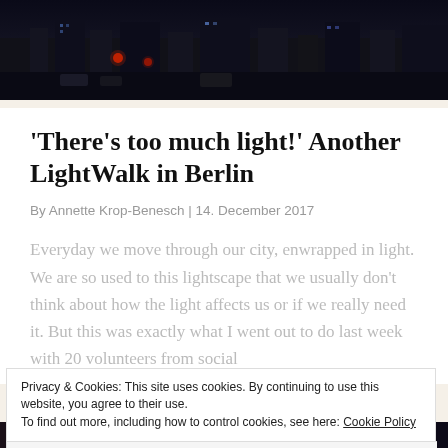[Figure (photo): Nighttime city skyline photo with dark sky and distant building lights, a red traffic light visible in the scene]
'There's too much light!' Another LightWalk in Berlin
By Annette Krop-Benesch | 14. December 2017
Everyday we move through our city, enwrapped in light. We are so used to this lightscape that we usually don't think about how the light affects us or if we really need it. But this was exactly what I went out to do last week with 20 volunteers from social
Privacy & Cookies: This site uses cookies. By continuing to use this website, you agree to their use.
To find out more, including how to control cookies, see here: Cookie Policy
Close and accept
[Figure (photo): Bottom strip showing a dark nighttime photo, partial view]